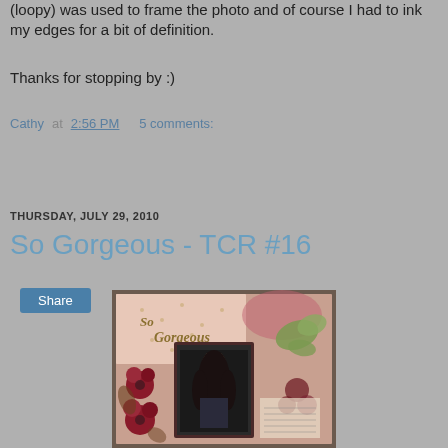(loopy) was used to frame the photo and of course I had to ink my edges for a bit of definition.
Thanks for stopping by :)
Cathy at 2:56 PM    5 comments:
Share
THURSDAY, JULY 29, 2010
So Gorgeous - TCR #16
[Figure (photo): Scrapbook layout page titled 'So Gorgeous' featuring a young woman with long dark hair, decorated with red flowers, a green butterfly, and floral patterned paper with pink and brown tones.]